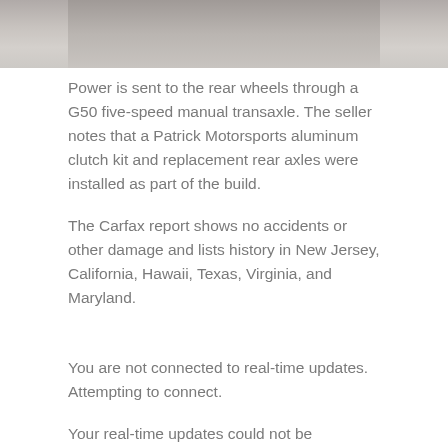[Figure (photo): Partial view of a car undercarriage or pavement, cropped at the top of the page]
Power is sent to the rear wheels through a G50 five-speed manual transaxle. The seller notes that a Patrick Motorsports aluminum clutch kit and replacement rear axles were installed as part of the build.
The Carfax report shows no accidents or other damage and lists history in New Jersey, California, Hawaii, Texas, Virginia, and Maryland.
You are not connected to real-time updates. Attempting to connect.
Your real-time updates could not be connected. Missed updates will be sent once your connection has been reestablished.